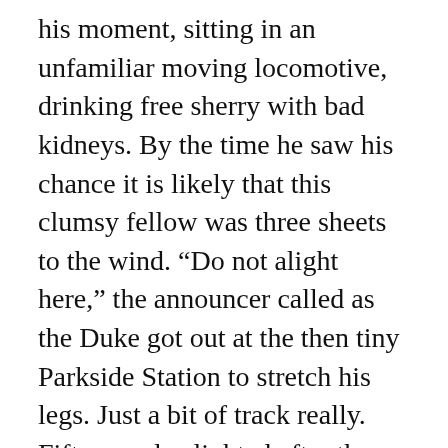his moment, sitting in an unfamiliar moving locomotive, drinking free sherry with bad kidneys. By the time he saw his chance it is likely that this clumsy fellow was three sheets to the wind. “Do not alight here,” the announcer called as the Duke got out at the then tiny Parkside Station to stretch his legs. Just a bit of track really. Fifty people alighted after the Duke. Among them was William, hoping to seize his moment. His moment hadn’t come before the announcement came: “An engine is approaching. Take care gentlemen.”
Stephenson’s Rocket was the approaching engine – the famous groundbreaking train in its heyday was slowing down, approaching on